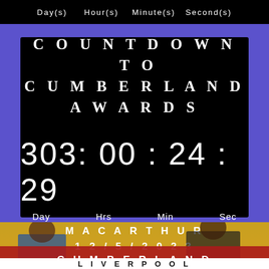Day(s)   Hour(s)   Minute(s)   Second(s)
COUNTDOWN TO CUMBERLAND AWARDS
303: 00 : 24 : 29
Day   Hrs   Min   Sec
MACARTHUR
12/5/2023
CUMBERLAND
18/06/2023
[Figure (photo): Photo of people at an awards ceremony, individuals shaking hands on stage with red and yellow backdrop]
LIVERPOOL